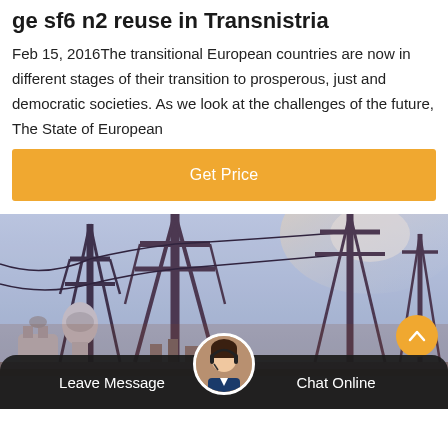ge sf6 n2 reuse in Transnistria
Feb 15, 2016The transitional European countries are now in different stages of their transition to prosperous, just and democratic societies. As we look at the challenges of the future, The State of European
Get Price
[Figure (photo): Electrical substation with high-voltage transmission towers and equipment against a light sky background]
Leave Message
Chat Online